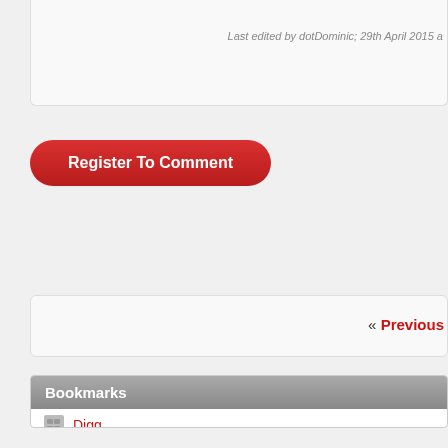Last edited by dotDominic; 29th April 2015 a
Register To Comment
« Previous
Bookmarks
Digg
del.icio.us
StumbleUpon
Google
Facebook